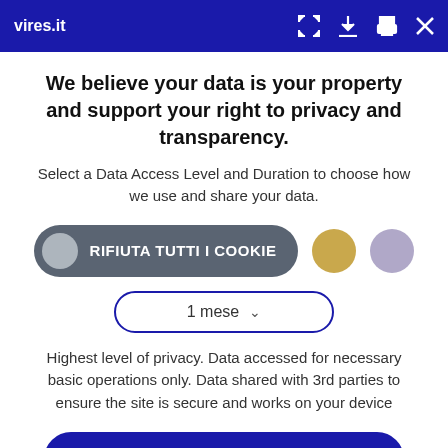vires.it
We believe your data is your property and support your right to privacy and transparency.
Select a Data Access Level and Duration to choose how we use and share your data.
[Figure (infographic): Cookie consent button row with three options: 'RIFIUTA TUTTI I COOKIE' (grey pill button), a gold circle, and a purple circle]
[Figure (infographic): Dropdown selector showing '1 mese' with a chevron/down arrow, outlined with dark blue border]
Highest level of privacy. Data accessed for necessary basic operations only. Data shared with 3rd parties to ensure the site is secure and works on your device
[Figure (infographic): Dark navy blue 'Save my preferences' button with rounded corners]
Customize
Privacy policy